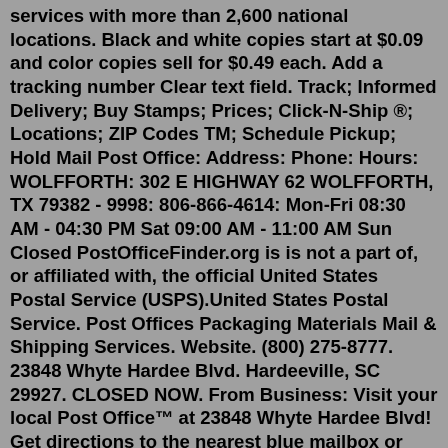services with more than 2,600 national locations. Black and white copies start at $0.09 and color copies sell for $0.49 each. Add a tracking number Clear text field. Track; Informed Delivery; Buy Stamps; Prices; Click-N-Ship ®; Locations; ZIP Codes TM; Schedule Pickup; Hold Mail Post Office: Address: Phone: Hours: WOLFFORTH: 302 E HIGHWAY 62 WOLFFORTH, TX 79382 - 9998: 806-866-4614: Mon-Fri 08:30 AM - 04:30 PM Sat 09:00 AM - 11:00 AM Sun Closed PostOfficeFinder.org is is not a part of, or affiliated with, the official United States Postal Service (USPS).United States Postal Service. Post Offices Packaging Materials Mail & Shipping Services. Website. (800) 275-8777. 23848 Whyte Hardee Blvd. Hardeeville, SC 29927. CLOSED NOW. From Business: Visit your local Post Office™ at 23848 Whyte Hardee Blvd! Get directions to the nearest blue mailbox or post office. Search the more than 200,000 USPS collection boxes in the United States. Post Office Near Me. This is the nearest post office